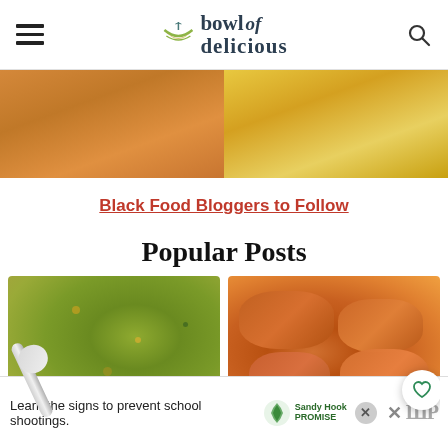bowl of delicious
[Figure (photo): Two people in colorful outfits, cropped at torso level. Left person in orange/yellow patterned top, right person in yellow floral dress.]
Black Food Bloggers to Follow
Popular Posts
[Figure (photo): Close-up of a green split pea or lentil soup with a spoon lifting some soup, showing chunky vegetables in a yellow-green broth.]
[Figure (photo): Baked or roasted chicken wings/pieces on a white surface, golden-brown and caramelized, with a circular heart/save button overlay.]
Learn the signs to prevent school shootings.
[Figure (logo): Sandy Hook Promise logo with green tree icon and text 'Sandy Hook PROMISE']